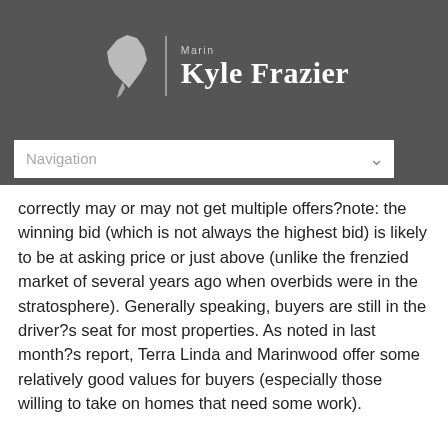Marin | Kyle Frazier
Navigation
correctly may or may not get multiple offers?note: the winning bid (which is not always the highest bid) is likely to be at asking price or just above (unlike the frenzied market of several years ago when overbids were in the stratosphere). Generally speaking, buyers are still in the driver?s seat for most properties. As noted in last month?s report, Terra Linda and Marinwood offer some relatively good values for buyers (especially those willing to take on homes that need some work).